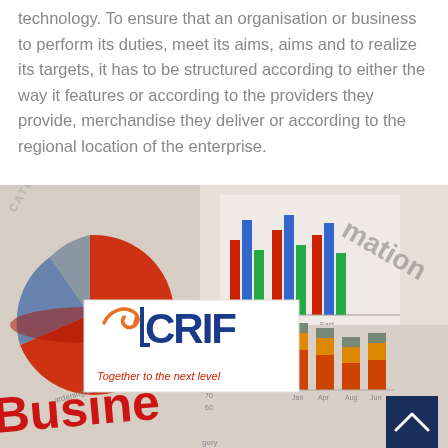technology. To ensure that an organisation or business to perform its duties, meet its aims, aims and to realize its targets, it has to be structured according to either the way it features or according to the providers they provide, merchandise they deliver or according to the regional location of the enterprise.
[Figure (photo): A composite image showing business charts including a pie chart on the left with red, blue, and grey segments, multiple grouped bar charts on the right with colorful bars (red, orange, grey, teal), overlaid text reading 'Business Information' and a CRIF logo overlay ('Together to the next level'), with a scroll-to-top button in the bottom right corner.]